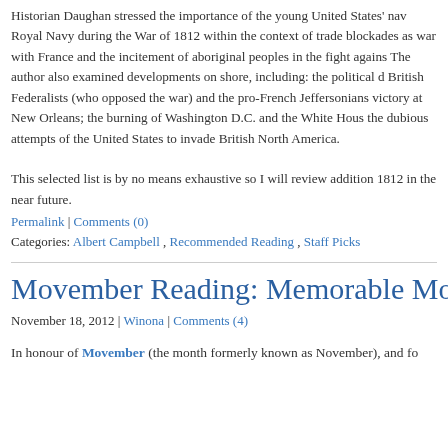Historian Daughan stressed the importance of the young United States' navy against the Royal Navy during the War of 1812 within the context of trade blockades as Britain was at war with France and the incitement of aboriginal peoples in the fight against the U.S. The author also examined developments on shore, including: the political divide between pro-British Federalists (who opposed the war) and the pro-French Jeffersonians; Jackson's victory at New Orleans; the burning of Washington D.C. and the White House; as well as the dubious attempts of the United States to invade British North America.
This selected list is by no means exhaustive so I will review additional books on the War of 1812 in the near future.
Permalink | Comments (0)
Categories: Albert Campbell , Recommended Reading , Staff Picks
Movember Reading: Memorable Moustaches
November 18, 2012 | Winona | Comments (4)
In honour of Movember (the month formerly known as November), and fo...